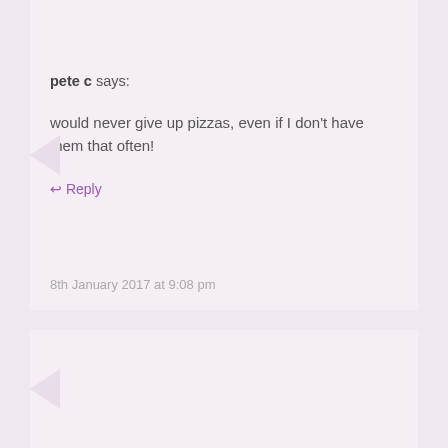pete c says:
would never give up pizzas, even if I don't have them that often!
↩ Reply
8th January 2017 at 9:08 pm
Karen Richards says:
I would never make a resolution to join a gym.